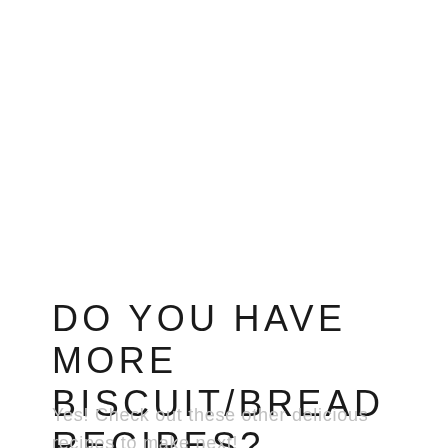DO YOU HAVE MORE BISCUIT/BREAD RECIPES?
Yes! Check out these other delicious recipes to make next!